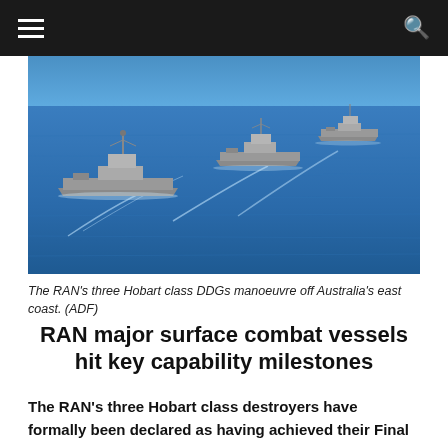≡  🔍
[Figure (photo): Three RAN Hobart class DDG destroyers sailing in formation on the ocean off Australia's east coast, photographed from the air.]
The RAN's three Hobart class DDGs manoeuvre off Australia's east coast. (ADF)
RAN major surface combat vessels hit key capability milestones
The RAN's three Hobart class destroyers have formally been declared as having achieved their Final Operational Capability (FOC).